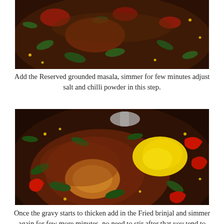[Figure (photo): Close-up photo of a cooking pan with masala, spices, curry leaves, and red chillies in dark gravy]
Add the Reserved grounded masala, simmer for few minutes adjust salt and chilli powder in this step.
[Figure (photo): Close-up photo of a cooking pan with simmering dark gravy, turmeric powder, masala powder, curry leaves, red chillies being added]
Once the gravy starts to thicken add in the Fried brinjal and simmer again for few more minutes, no need to stir after that you tend to break